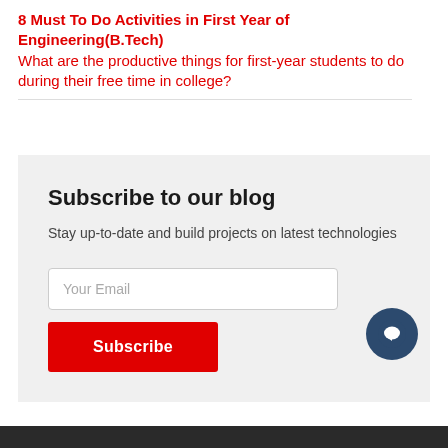8 Must To Do Activities in First Year of Engineering(B.Tech)
What are the productive things for first-year students to do during their free time in college?
Subscribe to our blog
Stay up-to-date and build projects on latest technologies
Your Email
Subscribe